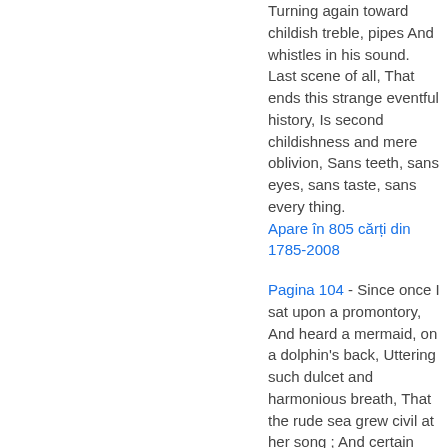Turning again toward childish treble, pipes And whistles in his sound. Last scene of all, That ends this strange eventful history, Is second childishness and mere oblivion, Sans teeth, sans eyes, sans taste, sans every thing.
Apare în 805 cărți din 1785-2008
Pagina 104 - Since once I sat upon a promontory, And heard a mermaid, on a dolphin's back, Uttering such dulcet and harmonious breath, That the rude sea grew civil at her song ; And certain stars shot madly from their spheres, To hear the sea-maid's music.